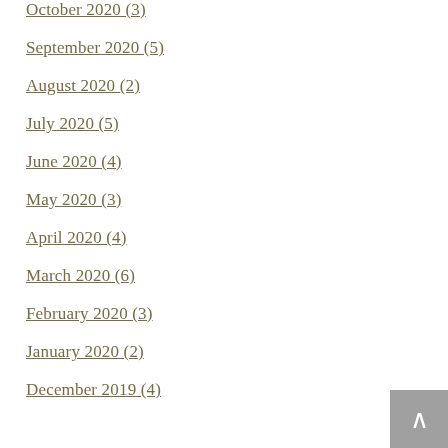November 2020 (4)
October 2020 (3)
September 2020 (5)
August 2020 (2)
July 2020 (5)
June 2020 (4)
May 2020 (3)
April 2020 (4)
March 2020 (6)
February 2020 (3)
January 2020 (2)
December 2019 (4)